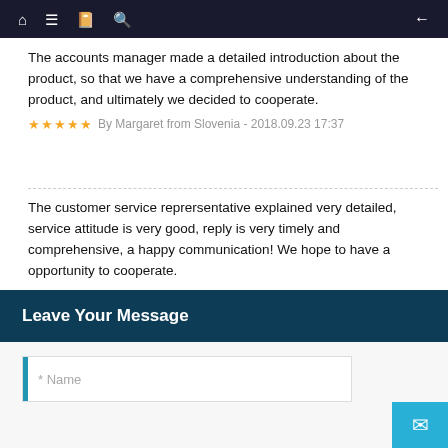Navigation bar with home, menu, book, search, and back icons
The accounts manager made a detailed introduction about the product, so that we have a comprehensive understanding of the product, and ultimately we decided to cooperate.
★★★★★ By Margaret from Slovenia - 2018.09.23 17:37
The customer service reprersentative explained very detailed, service attitude is very good, reply is very timely and comprehensive, a happy communication! We hope to have a opportunity to cooperate.
★★★★★ By Jacqueline from Mecca - 2018.09.21 11:01
Leave Your Message